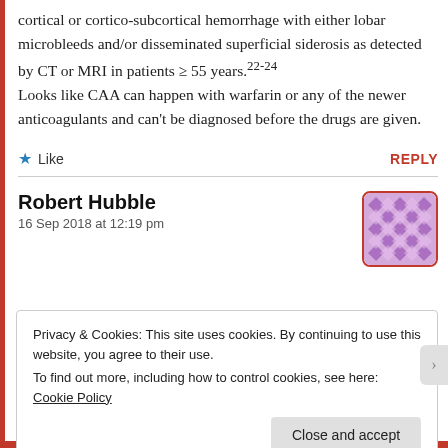cortical or cortico-subcortical hemorrhage with either lobar microbleeds and/or disseminated superficial siderosis as detected by CT or MRI in patients ≥ 55 years.22-24
Looks like CAA can happen with warfarin or any of the newer anticoagulants and can't be diagnosed before the drugs are given.
★ Like    REPLY
Robert Hubble
16 Sep 2018 at 12:19 pm
[Figure (illustration): Purple geometric avatar/profile picture with interlocking diamond and flower pattern]
Privacy & Cookies: This site uses cookies. By continuing to use this website, you agree to their use.
To find out more, including how to control cookies, see here: Cookie Policy
Close and accept